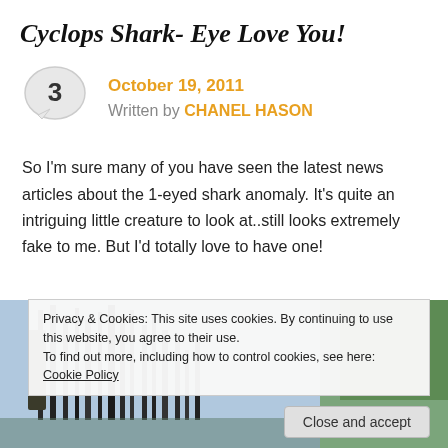Cyclops Shark- Eye Love You!
October 19, 2011
Written by CHANEL HASON
So I'm sure many of you have seen the latest news articles about the 1-eyed shark anomaly. It's quite an intriguing little creature to look at..still looks extremely fake to me. But I'd totally love to have one!
[Figure (photo): Outdoor scene with silhouetted figures and trees in background]
Privacy & Cookies: This site uses cookies. By continuing to use this website, you agree to their use.
To find out more, including how to control cookies, see here: Cookie Policy
Close and accept